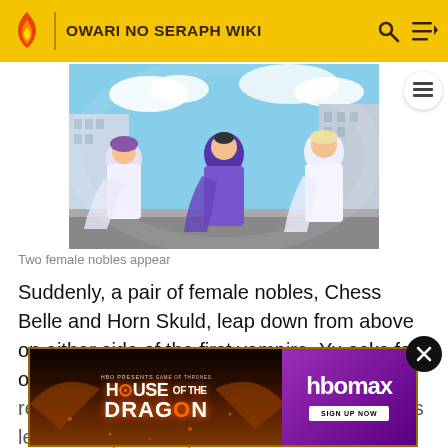OWARI NO SERAPH WIKI
[Figure (illustration): Anime screenshot showing three characters (two female nobles) leaping down in an urban setting with buildings and blue sky in the background]
Two female nobles appear
Suddenly, a pair of female nobles, Chess Belle and Horn Skuld, leap down from above on either side of the first vampire. Yu asks for orders and suggests a retreat. Shinoa says a retreat is impossible against opponents of this level. She plans to power with their demon weapons with their demonic kin. She and Mitsuba warn the squad that they may have
[Figure (screenshot): HBO Max advertisement for House of the Dragon (Game of Thrones prequel) with Sign Up Now button]